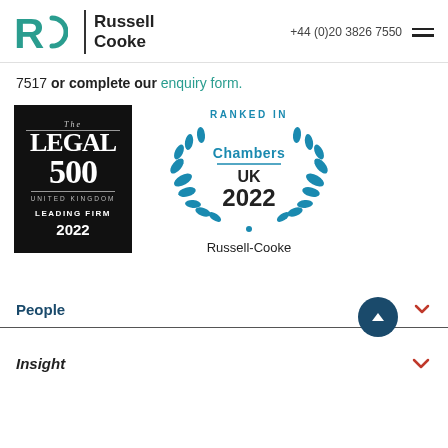[Figure (logo): Russell-Cooke law firm logo with RC monogram in teal and firm name]
+44 (0)20 3826 7550
7517 or complete our enquiry form.
[Figure (logo): The Legal 500 United Kingdom Leading Firm 2022 black badge]
[Figure (logo): Ranked in Chambers UK 2022 Russell-Cooke badge in teal]
People
Insight